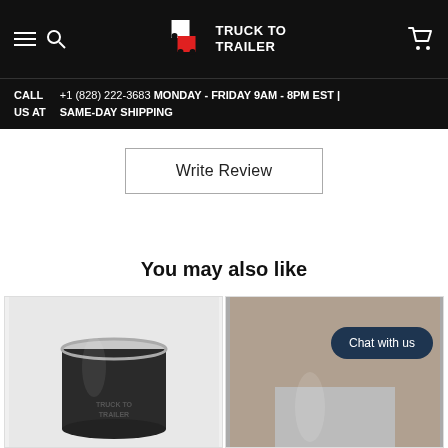TRUCK TO TRAILER — Navigation bar with hamburger, search, logo, and cart icons
CALL US AT +1 (828) 222-3683 MONDAY - FRIDAY 9AM - 8PM EST | SAME-DAY SHIPPING
Write Review
You may also like
[Figure (photo): Product photo of a black Truck to Trailer branded tumbler/cup with chrome lid]
[Figure (photo): Product photo showing a metallic item, partially visible, with a 'Chat with us' overlay button]